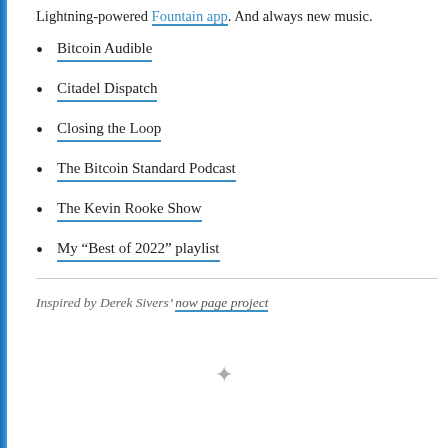Lightning-powered Fountain app. And always new music.
Bitcoin Audible
Citadel Dispatch
Closing the Loop
The Bitcoin Standard Podcast
The Kevin Rooke Show
My “Best of 2022” playlist
Inspired by Derek Sivers’ now page project